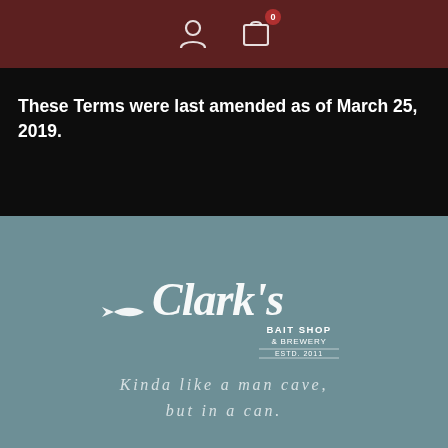[Figure (screenshot): Website header bar with dark red/maroon background containing a user account icon and a shopping cart icon with badge showing '0']
These Terms were last amended as of March 25, 2019.
[Figure (logo): Clark's Bait Shop & Brewery logo in white script text on teal/slate blue background. Tagline: Kinda like a man cave, but in a can.]
Kinda like a man cave, but in a can.